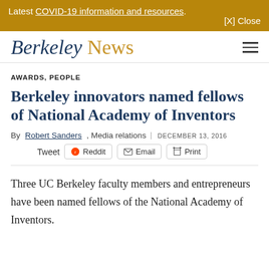Latest COVID-19 information and resources. [X] Close
[Figure (logo): Berkeley News logo with italic 'Berkeley' in dark navy and 'News' in gold, with hamburger menu icon]
AWARDS, PEOPLE
Berkeley innovators named fellows of National Academy of Inventors
By Robert Sanders, Media relations | DECEMBER 13, 2016
Tweet Reddit Email Print
Three UC Berkeley faculty members and entrepreneurs have been named fellows of the National Academy of Inventors.